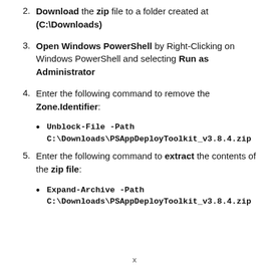2. Download the zip file to a folder created at (C:\Downloads)
3. Open Windows PowerShell by Right-Clicking on Windows PowerShell and selecting Run as Administrator
4. Enter the following command to remove the Zone.Identifier:
• Unblock-File -Path C:\Downloads\PSAppDeployToolkit_v3.8.4.zip
5. Enter the following command to extract the contents of the zip file:
• Expand-Archive -Path C:\Downloads\PSAppDeployToolkit_v3.8.4.zip
x